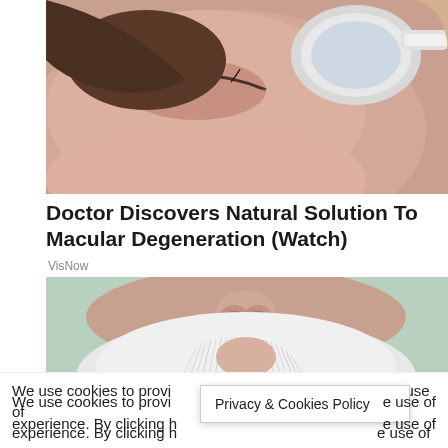[Figure (photo): Close-up photo of a woman with eyes closed, with a spoon-shaped medical device being held near her eye]
Doctor Discovers Natural Solution To Macular Degeneration (Watch)
VisNow
[Figure (photo): Close-up photo of an elderly man's face with a white beard, nose visible at top]
We use cookies to provide you with the best possible experience. By clicking here, you agree to the use of
Privacy & Cookies Policy